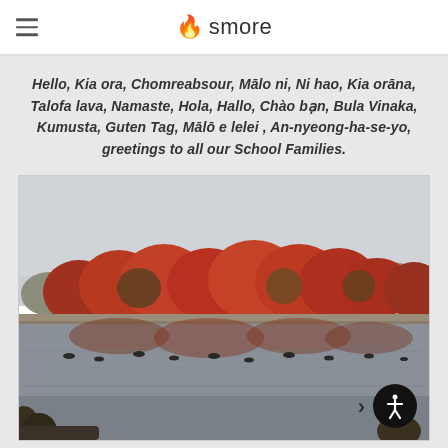smore
Hello, Kia ora, Chomreabsour, Mālo ni, Ni hao, Kia orāna, Talofa lava, Namaste, Hola, Hallo, Chào bạn, Bula Vinaka, Kumusta, Guten Tag, Mālō e lelei , An-nyeong-ha-se-yo, greetings to all our School Families.
[Figure (photo): Autumn lakeside scene with red and orange trees reflected in calm water, with geese swimming on the lake.]